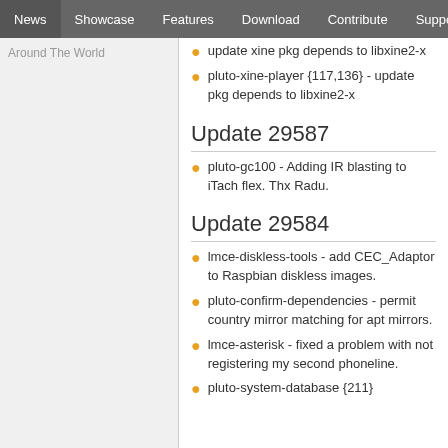News | Showcase | Features | Download | Contribute | Support
Around The World
update xine pkg depends to libxine2-x
pluto-xine-player {117,136} - update pkg depends to libxine2-x
Update 29587
pluto-gc100 - Adding IR blasting to iTach flex. Thx Radu.
Update 29584
lmce-diskless-tools - add CEC_Adaptor to Raspbian diskless images.
pluto-confirm-dependencies - permit country mirror matching for apt mirrors.
lmce-asterisk - fixed a problem with not registering my second phoneline.
pluto-system-database {211}